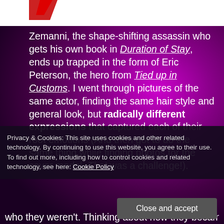[Figure (photo): White banner at top with red element visible at left]
Zemanni, the shape-shifting assassin who gets his own book in Duration of Stay, ends up trapped in the form of Eric Peterson, the hero from Tied up in Customs. I went through pictures of the same actor, finding the same hair style and general look, but radically different expressions that captured each of their root emotions (And then got to do the same thing while finding photos for the cover model. That was a challenge!).
Privacy & Cookies: This site uses cookies and other related technology. By continuing to use this website, you agree to their use. To find out more, including how to control cookies and related technology, see here: Cookie Policy
Close and accept
who they weren't. Thinking about how they became who